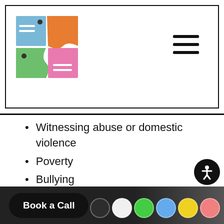[Figure (logo): Colorful puzzle-piece logo with hamburger menu icon]
Witnessing abuse or domestic violence
Poverty
Bullying
Accidents
Death or loss
It's important to note that not all of these events may be endured as traumatic for some children. It depends on the child's interpretations of the events that will determine if it was a traumatic experience. Their reactions and responses to the event can indicate whether or not the event was traumatic.